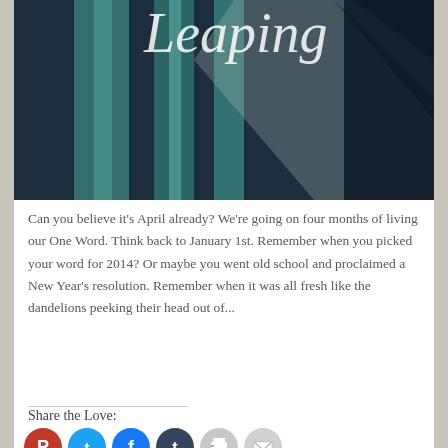[Figure (photo): Hero image with teal/green vertical shapes and dark blue background, with partial white cursive text 'Leaping' at top]
Can you believe it's April already? We're going on four months of living our One Word. Think back to January 1st. Remember when you picked your word for 2014? Or maybe you went old school and proclaimed a New Year's resolution. Remember when it was all fresh like the dandelions peeking their head out of...
Continue Reading →
Share the Love:
[Figure (infographic): Row of social media icon circles: Pinterest (red), Twitter (blue), Facebook (blue), Tumblr (dark), Print (grey), Email (grey)]